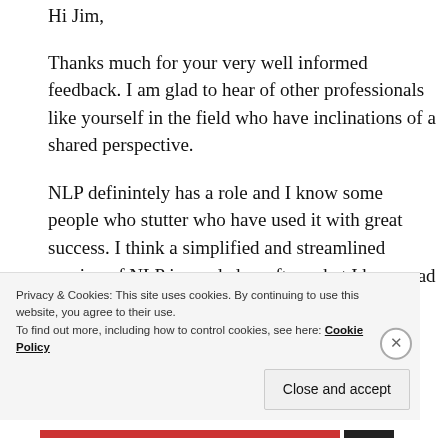Hi Jim,
Thanks much for your very well informed feedback. I am glad to hear of other professionals like yourself in the field who have inclinations of a shared perspective.
NLP definintely has a role and I know some people who stutter who have used it with great success. I think a simplified and streamlined version of NLP is needed as often what I have read on it gets lost in complexity. I understand its priniciples for the most part but what I have seen written on it makes
Privacy & Cookies: This site uses cookies. By continuing to use this website, you agree to their use.
To find out more, including how to control cookies, see here: Cookie Policy
Close and accept